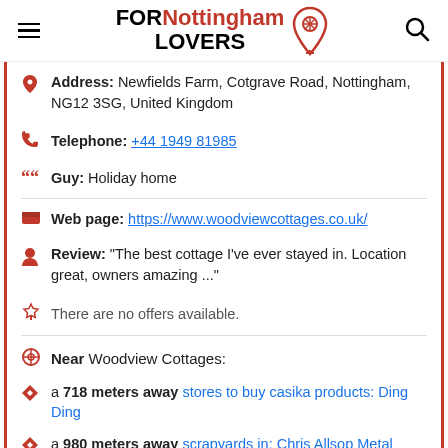FOR Nottingham LOVERS
Address: Newfields Farm, Cotgrave Road, Nottingham, NG12 3SG, United Kingdom
Telephone: +44 1949 81985
Guy: Holiday home
Web page: https://www.woodviewcottages.co.uk/
Review: "The best cottage I've ever stayed in. Location great, owners amazing ..."
There are no offers available.
Near Woodview Cottages:
a 718 meters away stores to buy casika products: Ding Ding
a 980 meters away scrapyards in: Chris Allsop Metal